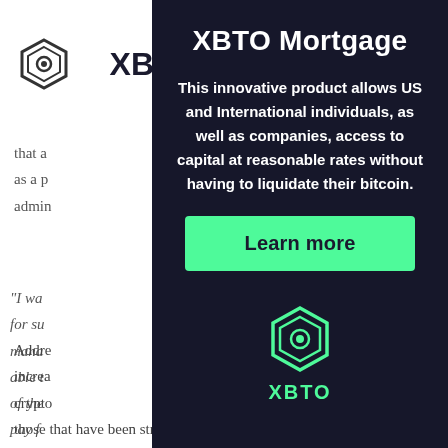XBTO Mortgage
[Figure (logo): XBTO hexagon logo icon in top left navigation]
[Figure (logo): Hamburger menu icon (three horizontal lines) in top right navigation]
that a...coin as a p...ami's admin...
This innovative product allows US and International individuals, as well as companies, access to capital at reasonable rates without having to liquidate their bitcoin.
"I wa... ners for su... a city mana... to be able t... tage of the... s to pay f...
Learn more
[Figure (logo): XBTO hexagon brand logo in teal/green color]
XBTO
Addre... increa... crypto... g those that have been struggling with China's